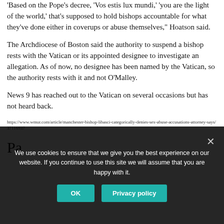'Based on the Pope's decree, 'Vos estis lux mundi,' 'you are the light of the world,' that's supposed to hold bishops accountable for what they've done either in coverups or abuse themselves," Hoatson said.
The Archdiocese of Boston said the authority to suspend a bishop rests with the Vatican or its appointed designee to investigate an allegation. As of now, no designee has been named by the Vatican, so the authority rests with it and not O'Malley.
News 9 has reached out to the Vatican on several occasions but has not heard back.
https://www.wmur.com/article/manchester-bishop-libasci-categorically-denies-sex-abuse-accusations-attorney-says/37116937
We use cookies to ensure that we give you the best experience on our website. If you continue to use this site we will assume that you are happy with it.